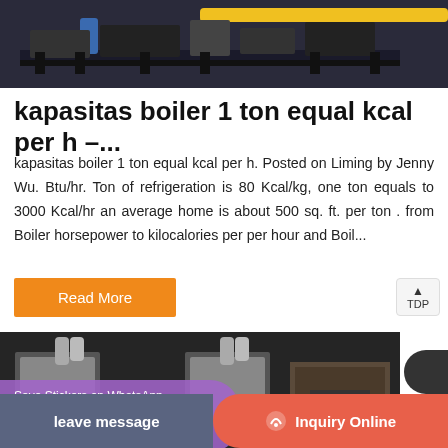[Figure (photo): Industrial machine/boiler equipment with yellow crane arm or bar visible, dark metal frame, on gray background]
kapasitas boiler 1 ton equal kcal per h –...
kapasitas boiler 1 ton equal kcal per h. Posted on Liming by Jenny Wu. Btu/hr. Ton of refrigeration is 80 Kcal/kg, one ton equals to 3000 Kcal/hr an average home is about 500 sq. ft. per ton . from Boiler horsepower to kilocalories per per hour and Boil...
Read More
[Figure (photo): Industrial boiler equipment, steel cylinders and piping, dark industrial setting]
Save Stickers on WhatsApp
leave message
Inquiry Online